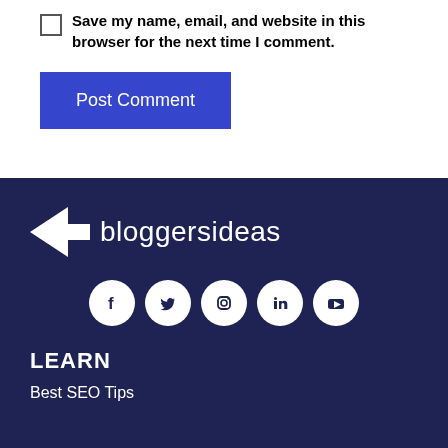Save my name, email, and website in this browser for the next time I comment.
Post Comment
[Figure (logo): Bloggersideas logo with triangular arrow icon and text 'bloggersideas' in white on dark navy background]
[Figure (infographic): Row of five social media icons (Facebook, Twitter, Instagram, LinkedIn, YouTube) as white circles on dark navy background]
LEARN
Best SEO Tips